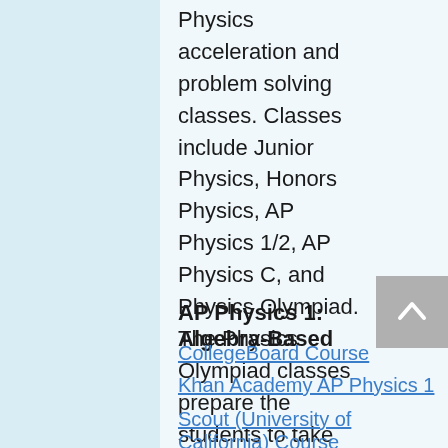Physics acceleration and problem solving classes. Classes include Junior Physics, Honors Physics, AP Physics 1/2, AP Physics C, and Physics Olympiad. The Physics Olympiad classes prepare the students to take part in the US Physics Bowl and USA Physics Olympiad qualifying exams.
AP Physics 1: Algebra-Based
CollegeBoard Course
Khan Academy AP Physics 1
Scout (University of California) Course